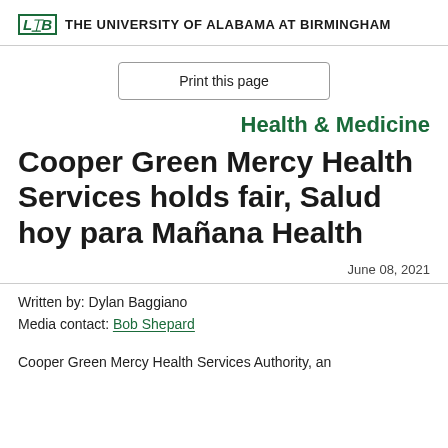UAB THE UNIVERSITY OF ALABAMA AT BIRMINGHAM
Print this page
Health & Medicine
Cooper Green Mercy Health Services holds fair, Salud hoy para Mañana Health
June 08, 2021
Written by: Dylan Baggiano
Media contact: Bob Shepard
Cooper Green Mercy Health Services Authority, an